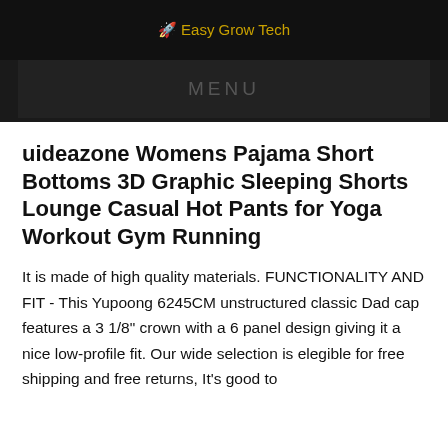Easy Grow Tech
MENU
uideazone Womens Pajama Short Bottoms 3D Graphic Sleeping Shorts Lounge Casual Hot Pants for Yoga Workout Gym Running
It is made of high quality materials. FUNCTIONALITY AND FIT - This Yupoong 6245CM unstructured classic Dad cap features a 3 1/8" crown with a 6 panel design giving it a nice low-profile fit. Our wide selection is elegible for free shipping and free returns, It's good to